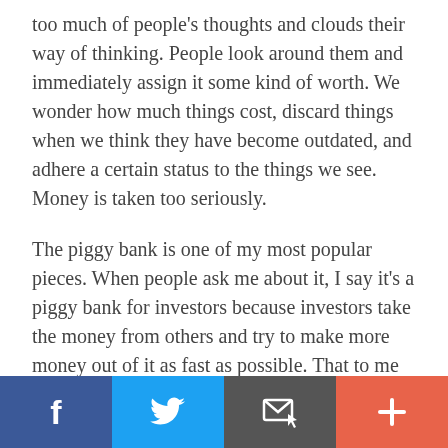too much of people's thoughts and clouds their way of thinking. People look around them and immediately assign it some kind of worth. We wonder how much things cost, discard things when we think they have become outdated, and adhere a certain status to the things we see. Money is taken too seriously.
The piggy bank is one of my most popular pieces. When people ask me about it, I say it's a piggy bank for investors because investors take the money from others and try to make more money out of it as fast as possible. That to me is a very strange way to
[Figure (other): Social sharing bar with four buttons: Facebook (blue), Twitter (light blue), Email/message (dark grey), and Plus/add (orange-red)]